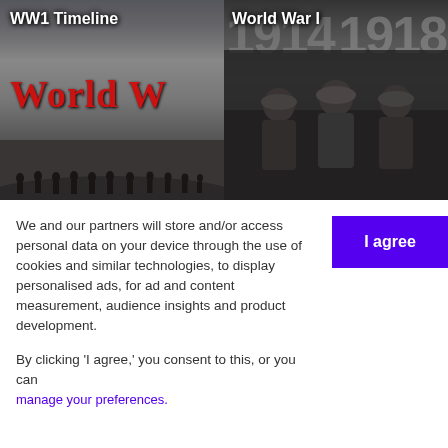[Figure (screenshot): Two side-by-side black and white images: left shows 'WW1 Timeline' with soldiers silhouetted against sky and red 'World W' text; right shows 'World War I' with 1914-1918 watermark and soldiers in trench]
We and our partners will store and/or access personal data on your device through the use of cookies and similar technologies, to display personalised ads, for ad and content measurement, audience insights and product development.
By clicking 'I agree,' you consent to this, or you can manage your preferences.